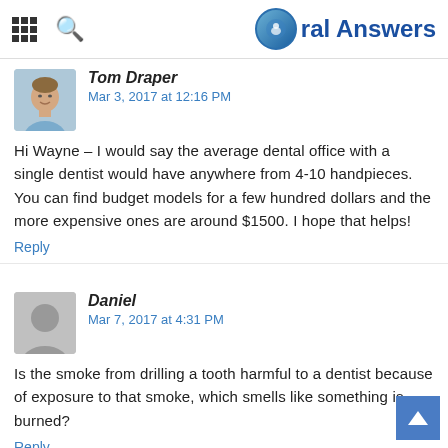Oral Answers
Tom Draper
Mar 3, 2017 at 12:16 PM
Hi Wayne – I would say the average dental office with a single dentist would have anywhere from 4-10 handpieces. You can find budget models for a few hundred dollars and the more expensive ones are around $1500. I hope that helps!
Reply
Daniel
Mar 7, 2017 at 4:31 PM
Is the smoke from drilling a tooth harmful to a dentist because of exposure to that smoke, which smells like something is burned?
Reply